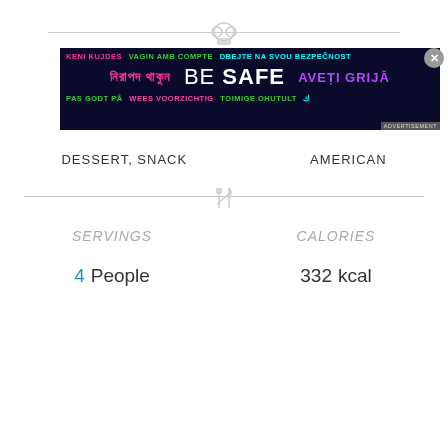[Figure (illustration): Top horizontal divider line with chef hat SVG icon centered on it]
[Figure (screenshot): Advertisement banner overlay: dark navy background with multilingual safety text in various colors. Line 1: 'KENI KUJDES' (pink), 'VAGIN AMB COMPTE' (green), 'DBEJTE NA SVOU BEZPECNOST' (cyan). Line 2: Bengali text (pink), large white 'BE SAFE', 'AVETI GRIJA' (purple). Line 3: 'PAS GODT PA' (green), 'WEES VOORZICHTIG' (pink), 'TOIMIGE OHUTULT' (green), partial cyan text. ADVERTISEMENT label at bottom right.]
DESSERT, SNACK
AMERICAN
[Figure (illustration): Middle horizontal divider line with crossed fork and knife SVG icon centered on it]
SERVINGS
CALORIES
4  People
332  kcal